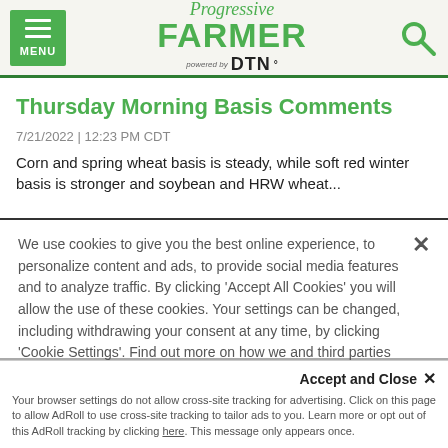MENU | Progressive FARMER powered by DTN
Thursday Morning Basis Comments
7/21/2022 | 12:23 PM CDT
Corn and spring wheat basis is steady, while soft red winter basis is stronger and soybean and HRW wheat...
We use cookies to give you the best online experience, to personalize content and ads, to provide social media features and to analyze traffic. By clicking 'Accept All Cookies' you will allow the use of these cookies. Your settings can be changed, including withdrawing your consent at any time, by clicking 'Cookie Settings'. Find out more on how we and third parties use cookies in our Cookie Policy
Accept and Close ✕
Your browser settings do not allow cross-site tracking for advertising. Click on this page to allow AdRoll to use cross-site tracking to tailor ads to you. Learn more or opt out of this AdRoll tracking by clicking here. This message only appears once.